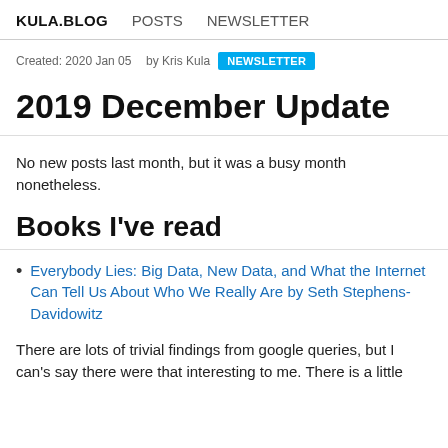KULA.BLOG  POSTS  NEWSLETTER
Created: 2020 Jan 05  by Kris Kula  NEWSLETTER
2019 December Update
No new posts last month, but it was a busy month nonetheless.
Books I've read
Everybody Lies: Big Data, New Data, and What the Internet Can Tell Us About Who We Really Are by Seth Stephens-Davidowitz
There are lots of trivial findings from google queries, but I can's say there were that interesting to me. There is a little